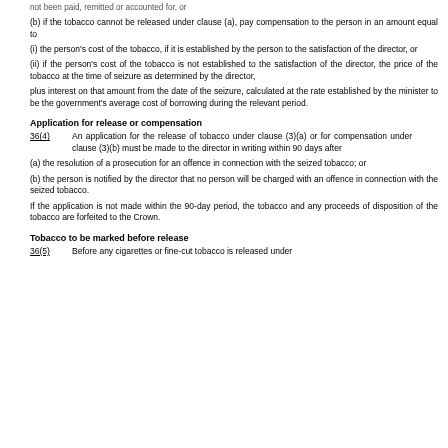not been paid, remitted or accounted for, or
(b) if the tobacco cannot be released under clause (a), pay compensation to the person in an amount equal to
(i) the person's cost of the tobacco, if it is established by the person to the satisfaction of the director, or
(ii) if the person's cost of the tobacco is not established to the satisfaction of the director, the price of the tobacco at the time of seizure as determined by the director,
plus interest on that amount from the date of the seizure, calculated at the rate established by the minister to be the government's average cost of borrowing during the relevant period.
Application for release or compensation
36(4)       An application for the release of tobacco under clause (3)(a) or for compensation under clause (3)(b) must be made to the director in writing within 90 days after
(a) the resolution of a prosecution for an offence in connection with the seized tobacco; or
(b) the person is notified by the director that no person will be charged with an offence in connection with the seized tobacco.
If the application is not made within the 90-day period, the tobacco and any proceeds of disposition of the tobacco are forfeited to the Crown.
Tobacco to be marked before release
36(5)       Before any cigarettes or fine-cut tobacco is released under